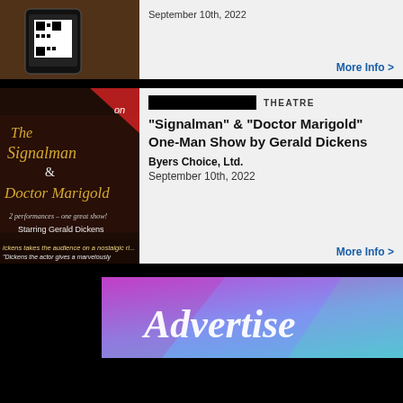[Figure (photo): Partial top card showing a smartphone with QR code on wooden background]
September 10th, 2022
More Info >
[Figure (photo): The Signalman & Doctor Marigold promotional poster featuring Gerald Dickens]
THEATRE
"Signalman" & "Doctor Marigold" One-Man Show by Gerald Dickens
Byers Choice, Ltd.
September 10th, 2022
More Info >
[Figure (illustration): Advertise banner with colorful gradient background and script text reading 'Advertise']